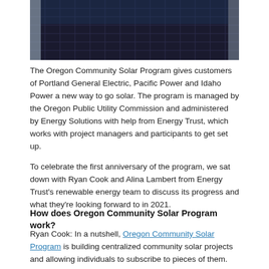[Figure (photo): Close-up photograph of solar panels with metallic framing, showing dark photovoltaic cells and grid pattern on the panel surface.]
The Oregon Community Solar Program gives customers of Portland General Electric, Pacific Power and Idaho Power a new way to go solar. The program is managed by the Oregon Public Utility Commission and administered by Energy Solutions with help from Energy Trust, which works with project managers and participants to get set up.
To celebrate the first anniversary of the program, we sat down with Ryan Cook and Alina Lambert from Energy Trust's renewable energy team to discuss its progress and what they're looking forward to in 2021.
How does Oregon Community Solar Program work?
Ryan Cook: In a nutshell, Oregon Community Solar Program is building centralized community solar projects and allowing individuals to subscribe to pieces of them.